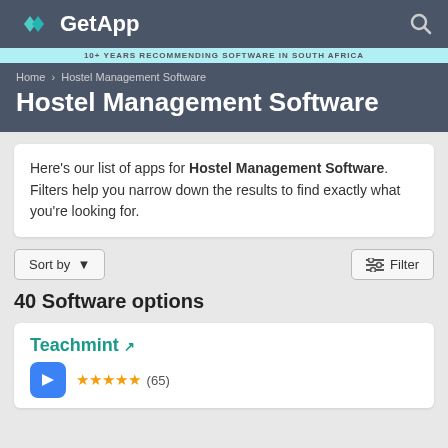GetApp
10+ YEARS RECOMMENDING SOFTWARE IN SOUTH AFRICA
Home › Hostel Management Software
Hostel Management Software
Here's our list of apps for Hostel Management Software. Filters help you narrow down the results to find exactly what you're looking for.
Sort by ▼
⚙ Filter
40 Software options
Teachmint ↗
4.8 ★★★★★ (65)